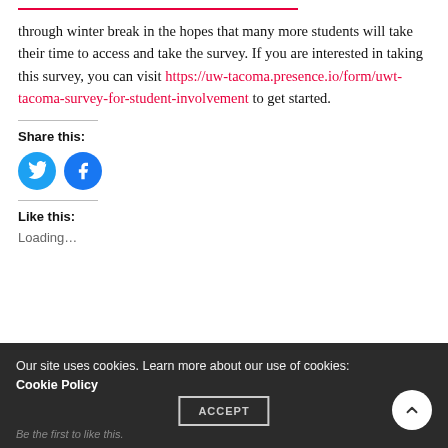through winter break in the hopes that many more students will take their time to access and take the survey. If you are interested in taking this survey, you can visit https://uw-tacoma.presence.io/form/uwt-tacoma-survey-for-student-involvement to get started.
Share this:
[Figure (other): Twitter and Facebook social share icon buttons (circular blue icons)]
Like this:
Loading...
Our site uses cookies. Learn more about our use of cookies: Cookie Policy  ACCEPT  Be the first to like this.